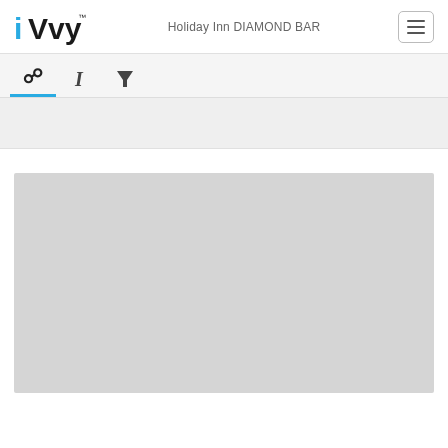[Figure (logo): iVvy logo in black and cyan, with 'i' in blue and 'Vvy' in black]
Holiday Inn DIAMOND BAR
[Figure (other): Hamburger menu button (three horizontal lines) in a rounded rectangle border]
[Figure (other): Tab bar with three icon tabs: person/info icon (active, with blue underline), text/italic icon, and funnel/filter icon]
[Figure (other): Large gray image placeholder rectangle]